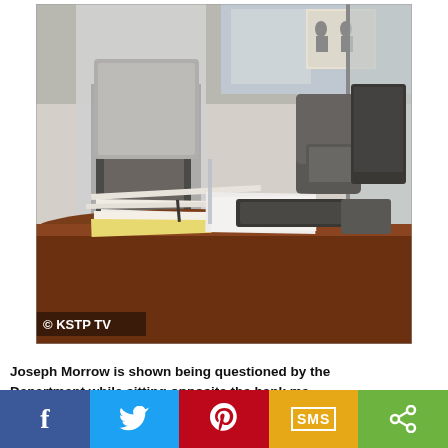[Figure (photo): A bank office scene showing a person sitting at a desk with papers, a keyboard, and office equipment. The person's face is blurred/obscured. A glass partition is visible. A copyright watermark reads '© KSTP TV' in the lower left corner.]
Joseph Morrow is shown being questioned by the Department while sitting opposite the bank ma October. He had tried to cash his $900 pay che